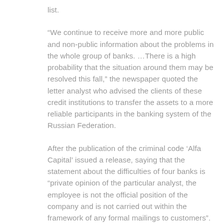list.
“We continue to receive more and more public and non-public information about the problems in the whole group of banks. …There is a high probability that the situation around them may be resolved this fall,” the newspaper quoted the letter analyst who advised the clients of these credit institutions to transfer the assets to a more reliable participants in the banking system of the Russian Federation.
After the publication of the criminal code ‘Alfa Capital’ issued a release, saying that the statement about the difficulties of four banks is “private opinion of the particular analyst, the employee is not the official position of the company and is not carried out within the framework of any formal mailings to customers”.
Later the criminal code ‘Alfa Capital’ withdrew the letter